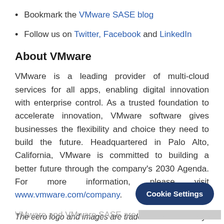Bookmark the VMware SASE blog
Follow us on Twitter, Facebook and LinkedIn
About VMware
VMware is a leading provider of multi-cloud services for all apps, enabling digital innovation with enterprise control. As a trusted foundation to accelerate innovation, VMware software gives businesses the flexibility and choice they need to build the future. Headquartered in Palo Alto, California, VMware is committed to building a better future through the company's 2030 Agenda. For more information, please visit www.vmware.com/company.
The eero logo and images are trademarks licensed by eero inc.
VMware and VMware SASE are [obscured]